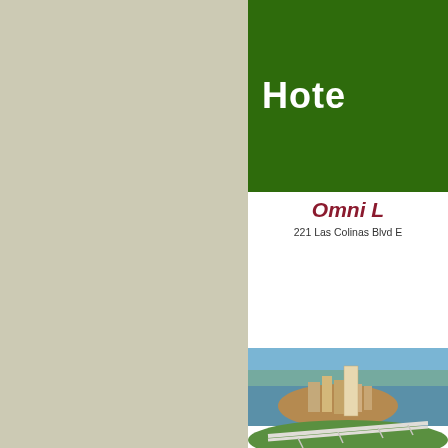[Figure (other): Left panel with beige/tan background color]
Hote
Omni L
221 Las Colinas Blvd E
[Figure (photo): Aerial photograph of Omni Las Colinas hotel and surrounding waterway, urban buildings on a peninsula surrounded by water, with a bridge and green grass in the foreground]